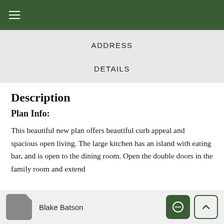≡ (hamburger menu)
ADDRESS
DETAILS
Description
Plan Info:
This beautiful new plan offers beautiful curb appeal and spacious open living. The large kitchen has an island with eating bar, and is open to the dining room. Open the double doors in the family room and extend
Blake Batson